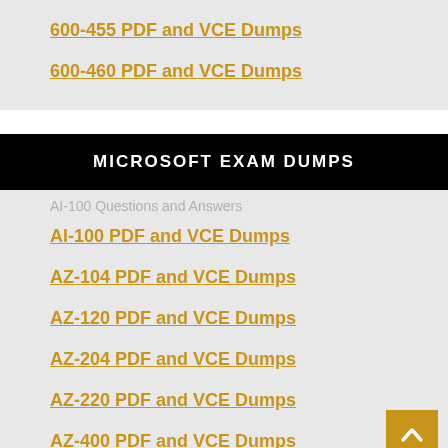600-455 PDF and VCE Dumps
600-460 PDF and VCE Dumps
MICROSOFT EXAM DUMPS
AI-100 PDF and VCE Dumps
AZ-104 PDF and VCE Dumps
AZ-120 PDF and VCE Dumps
AZ-204 PDF and VCE Dumps
AZ-220 PDF and VCE Dumps
AZ-400 PDF and VCE Dumps